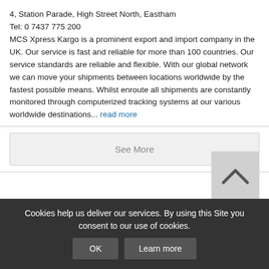4, Station Parade, High Street North, Eastham
Tel: 0 7437 775 200
MCS Xpress Kargo is a prominent export and import company in the UK. Our service is fast and reliable for more than 100 countries. Our service standards are reliable and flexible. With our global network we can move your shipments between locations worldwide by the fastest possible means. Whilst enroute all shipments are constantly monitored through computerized tracking systems at our various worldwide destinations... read more
See More
[Figure (other): Back to top arrow button, dark chevron on light grey square background]
Cookies help us deliver our services. By using this Site you consent to our use of cookies. OK Learn more